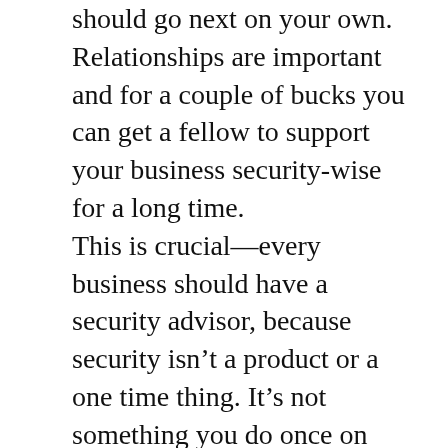should go next on your own. Relationships are important and for a couple of bucks you can get a fellow to support your business security-wise for a long time.
This is crucial—every business should have a security advisor, because security isn't a product or a one time thing. It's not something you do once on engagement with one company and you're good forever. Security is a process and you need to have a buddy that will support you along the way.
With BugBounty you'll get tons of 'you have misconfigured SPF, gimme bounty you bastards! this bugbounty is fake!' and not much of valuable support after BB is over.
Finally...